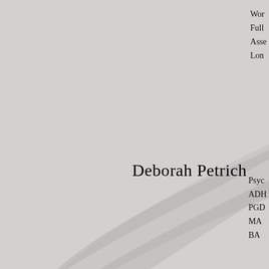[Figure (illustration): Decorative curved swoosh shape in light gray spanning the middle section of the page]
Wor
Full
Asse
Lon
Deborah Petrich
Psyc
ADH
PGD
MA
BA
George Blair
Psyc
Mem
UKC
Gerry O'Malley
Psyc
Full
with